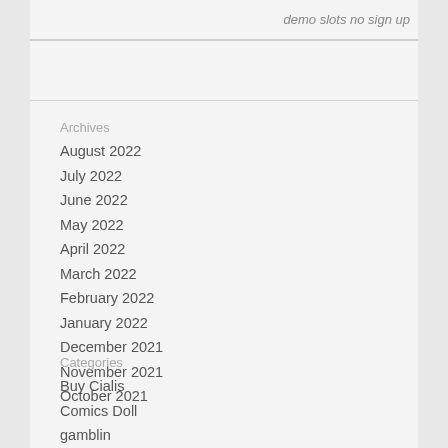demo slots no sign up
Archives
August 2022
July 2022
June 2022
May 2022
April 2022
March 2022
February 2022
January 2022
December 2021
November 2021
October 2021
Categories
Buy Cialis
Comics Doll
gamblin